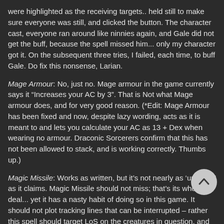were highlighted as the receiving targets.. held still to make sure everyone was still, and clicked the button. The character cast, everyone ran around like ninnies again, and Gale did not get the buff, because the spell missed him... only my character got it. On the subsequent three tries, I failed, each time, to buff Gale. Do fix this nonsense, Larian.
Mage Armour: No, just no. Mage armour in the game currently says it “Increases your AC by 3”. That is Not what Mage armour does, and for very good reason. (*Edit: Mage Armour has been fixed and now, despite lazy wording, acts as it is meant to and lets you calculate your AC as 13 + Dex when wearing no armour. Draconic Sorcerers confirm that this has not been allowed to stack, and is working correctly. Thumbs up.)
Magic Missile: Works as written, but it’s not nearly as ‘unerring’ as it claims. Magic Missile should not miss; that’s its whole deal... yet it has a nasty habit of doing so in this game. It should not plot tracking lines that can be interrupted – rather this spell should target LoS on the creatures in question, and provided that is fine, no trace is made; they should give a *visual* of streaking through the air, definitely... but they should not actually trace paths that can be interrupted, if the spell has functional LoS.
Protection from Evil and Good: This one seems to work as written and described. Thumbs up!
Ray of Sickness: Works as written and described, however, the spell card should indicate that it requires both a ranged attack roll and a Con